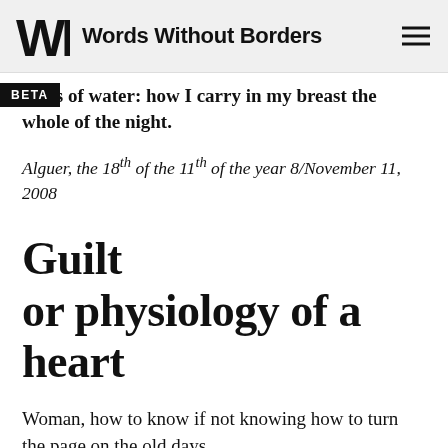Words Without Borders
ruins of water: how I carry in my breast the whole of the night.
Alguer, the 18th of the 11th of the year 8/November 11, 2008
Guilt or physiology of a heart
Woman, how to know if not knowing how to turn the page on the old days,
or finding the dust of the old days clinging under your fingernails